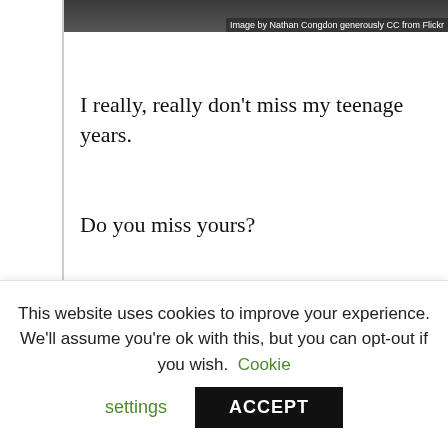[Figure (photo): Dark photograph at the top of the article with overlay caption text reading 'Image by Nathan Congdon generously CC from Flickr']
Image by Nathan Congdon generously CC from Flickr
I really, really don’t miss my teenage years.
Do you miss yours?
I can’t imagine that my parents much miss my teenage years either.  I can’t say that I  was the best  behaved teen in the world..
I must admit, I don’t have any teenagers now.  My kids are all under ten.  But I remember the
This website uses cookies to improve your experience. We'll assume you're ok with this, but you can opt-out if you wish. Cookie settings ACCEPT